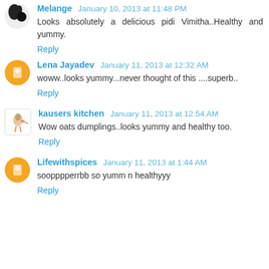Melange January 10, 2013 at 11:48 PM
Looks absolutely a delicious pidi Vimitha..Healthy and yummy.
Reply
Lena Jayadev January 11, 2013 at 12:32 AM
woww..looks yummy...never thought of this ....superb..
Reply
kausers kitchen January 11, 2013 at 12:54 AM
Wow oats dumplings..looks yummy and healthy too.
Reply
Lifewithspices January 11, 2013 at 1:44 AM
soopppperrbb so yumm n healthyyy
Reply